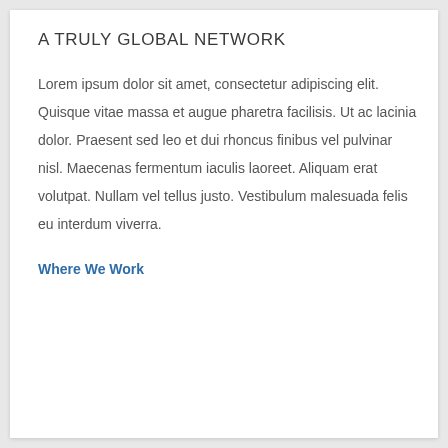A TRULY GLOBAL NETWORK
Lorem ipsum dolor sit amet, consectetur adipiscing elit. Quisque vitae massa et augue pharetra facilisis. Ut ac lacinia dolor. Praesent sed leo et dui rhoncus finibus vel pulvinar nisl. Maecenas fermentum iaculis laoreet. Aliquam erat volutpat. Nullam vel tellus justo. Vestibulum malesuada felis eu interdum viverra.
Where We Work